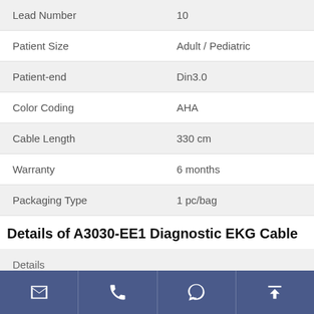| Attribute | Value |
| --- | --- |
| Lead Number | 10 |
| Patient Size | Adult / Pediatric |
| Patient-end | Din3.0 |
| Color Coding | AHA |
| Cable Length | 330 cm |
| Warranty | 6 months |
| Packaging Type | 1 pc/bag |
Details of A3030-EE1 Diagnostic EKG Cable
| Details |
| --- |